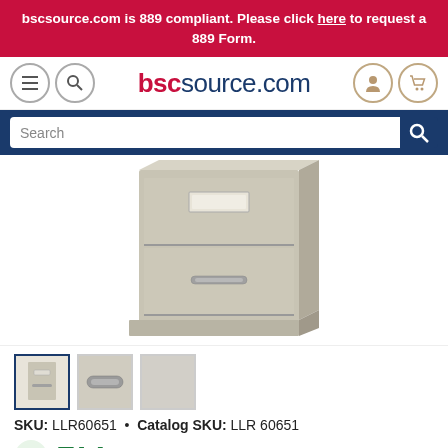bscsource.com is 889 compliant. Please click here to request a 889 Form.
[Figure (logo): bscsource.com navigation logo with hamburger menu, search icon, user icon, and cart icon]
[Figure (screenshot): Search bar with blue background]
[Figure (photo): Light gray metal filing cabinet with one drawer showing a label holder and pull handle]
[Figure (photo): Three product thumbnail images: full cabinet view (active, blue border), close-up of drawer handle (gray), and color swatch (light gray)]
SKU: LLR60651 • Catalog SKU: LLR 60651
[Figure (logo): Green recycling symbol and TAA text logo in teal/green]